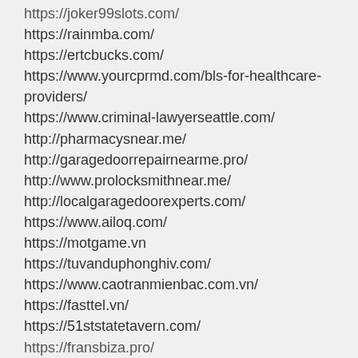https://joker99slots.com/
https://rainmba.com/
https://ertcbucks.com/
https://www.yourcprmd.com/bls-for-healthcare-providers/
https://www.criminal-lawyerseattle.com/
http://pharmacysnear.me/
http://garagedoorrepairnearme.pro/
http://www.prolocksmithnear.me/
http://localgaragedoorexperts.com/
https://www.ailoq.com/
https://motgame.vn
https://tuvanduphonghiv.com/
https://www.caotranmienbac.com.vn/
https://fasttel.vn/
https://51ststatetavern.com/
https://fransbiza.pro/